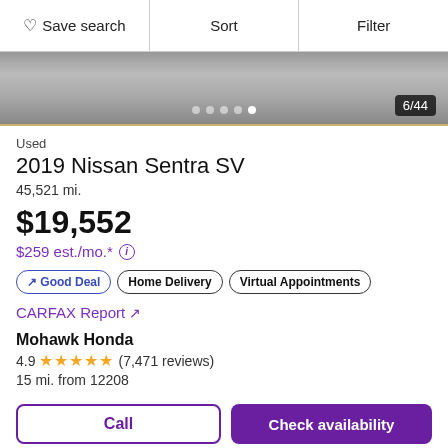♡ Save search | Sort | Filter
[Figure (photo): Partial view of a car (bottom portion showing wheel area), slide counter 6/44, pagination dots]
Used
2019 Nissan Sentra SV
45,521 mi.
$19,552
$259 est./mo.* ⓘ
↗ Good Deal | Home Delivery | Virtual Appointments
CARFAX Report ↗
Mohawk Honda
4.9 ★★★★★ (7,471 reviews)
15 mi. from 12208
Call | Check availability